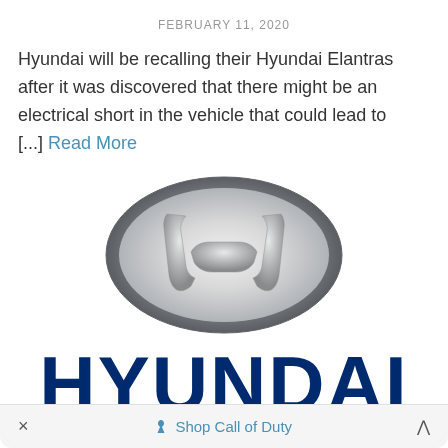FEBRUARY 11, 2020
Hyundai will be recalling their Hyundai Elantras after it was discovered that there might be an electrical short in the vehicle that could lead to [...] Read More
[Figure (logo): Hyundai silver H emblem logo (oval shape with metallic H inside) followed by the HYUNDAI wordmark in dark navy blue block letters]
× | Shop Call of Duty | ^